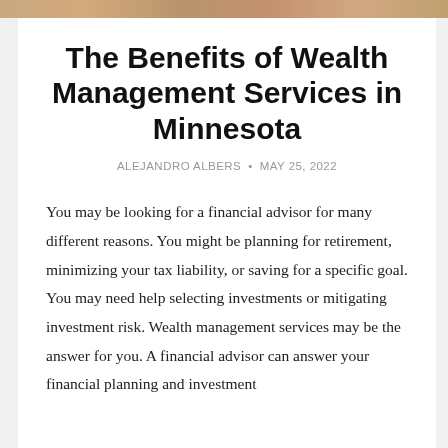[Figure (photo): Partial view of a photo at the top of the page, showing warm brown tones suggesting people in a financial advisory setting]
The Benefits of Wealth Management Services in Minnesota
ALEJANDRO ALBERS • MAY 25, 2022
You may be looking for a financial advisor for many different reasons. You might be planning for retirement, minimizing your tax liability, or saving for a specific goal. You may need help selecting investments or mitigating investment risk. Wealth management services may be the answer for you. A financial advisor can answer your financial planning and investment...